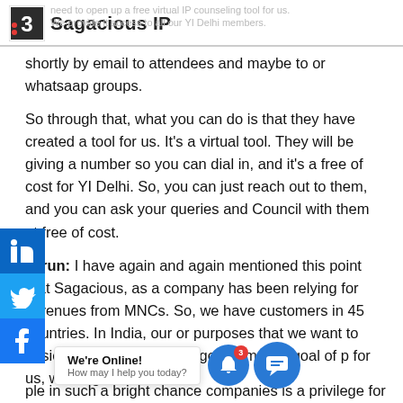Sagacious IP
shortly by email to attendees and maybe to or whatsaap groups.
So through that, what you can do is that they have created a tool for us. It’s a virtual tool. They will be giving a number so you can dial in, and it’s a free of cost for YI Delhi. So, you can just reach out to them, and you can ask your queries and Council with them at free of cost.
Tarun: I have again and again mentioned this point that Sagacious, as a company has been relying for revenues from MNCs. So, we have customers in 45 countries. In India, our or purposes that we want to basically participate in the government’s goal of for us, working wi… ple in such a bright chance companies is a privilege for us